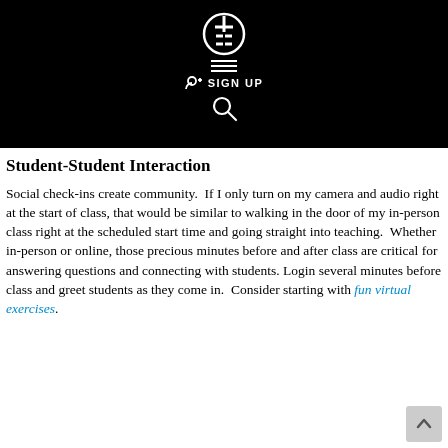[Figure (logo): Black header bar with a circular logo icon containing 'FF' letters, a hamburger menu icon, a 'SIGN UP' button with user icon, and a search icon, all in white on black background.]
Student-Student Interaction
Social check-ins create community.  If I only turn on my camera and audio right at the start of class, that would be similar to walking in the door of my in-person class right at the scheduled start time and going straight into teaching.  Whether in-person or online, those precious minutes before and after class are critical for answering questions and connecting with students. Login several minutes before class and greet students as they come in.  Consider starting with fun virtual exercises.